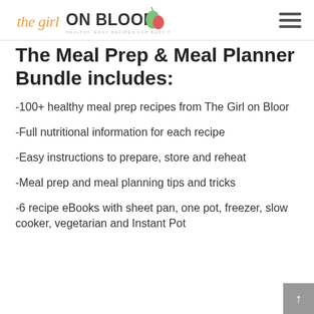the girl ON BLOOR — HEALTHY, EASY RECIPES FOR BUSY PEOPLE!
The Meal Prep & Meal Planner Bundle includes:
-100+ healthy meal prep recipes from The Girl on Bloor
-Full nutritional information for each recipe
-Easy instructions to prepare, store and reheat
-Meal prep and meal planning tips and tricks
-6 recipe eBooks with sheet pan, one pot, freezer, slow cooker, vegetarian and Instant Pot